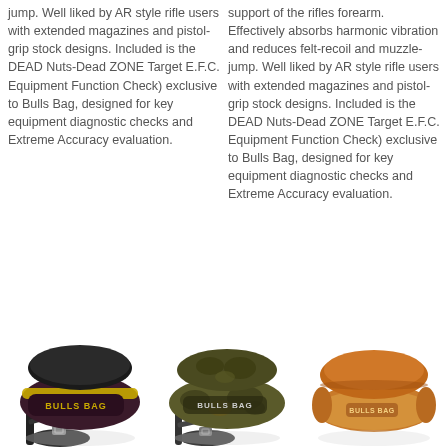jump. Well liked by AR style rifle users with extended magazines and pistol-grip stock designs. Included is the DEAD Nuts-Dead ZONE Target E.F.C. Equipment Function Check) exclusive to Bulls Bag, designed for key equipment diagnostic checks and Extreme Accuracy evaluation.
support of the rifles forearm. Effectively absorbs harmonic vibration and reduces felt-recoil and muzzle-jump. Well liked by AR style rifle users with extended magazines and pistol-grip stock designs. Included is the DEAD Nuts-Dead ZONE Target E.F.C. Equipment Function Check) exclusive to Bulls Bag, designed for key equipment diagnostic checks and Extreme Accuracy evaluation.
[Figure (photo): Three Bulls Bag shooting rest bags: left is dark brown/maroon with yellow trim and strap, center is camouflage pattern with strap, right is tan/orange suede-style without strap.]